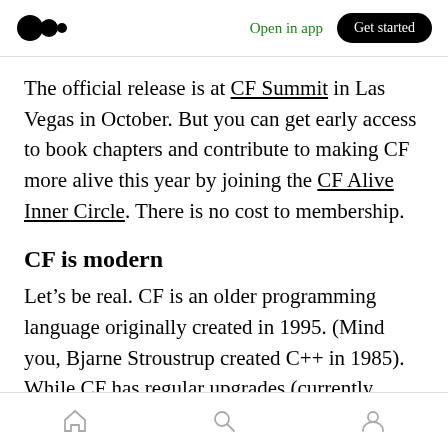Open in app | Get started
The official release is at CF Summit in Las Vegas in October. But you can get early access to book chapters and contribute to making CF more alive this year by joining the CF Alive Inner Circle. There is no cost to membership.
CF is modern
Let’s be real. CF is an older programming language originally created in 1995. (Mind you, Bjarne Stroustrup created C++ in 1985). While CF has regular upgrades (currently every 2 years), there are some people who see it as old